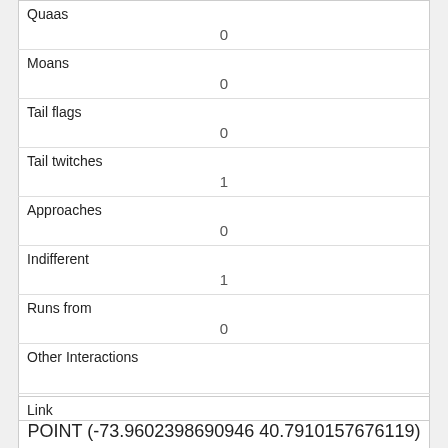| Field | Value |
| --- | --- |
| Quaas | 0 |
| Moans | 0 |
| Tail flags | 0 |
| Tail twitches | 1 |
| Approaches | 0 |
| Indifferent | 1 |
| Runs from | 0 |
| Other Interactions |  |
| Lat/Long | POINT (-73.9602398690946 40.7910157676119) |
| Field | Value |
| --- | --- |
| Link |  |